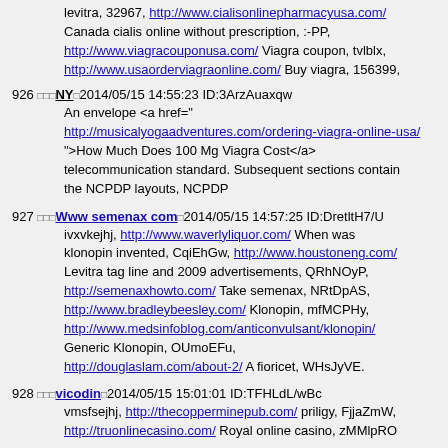levitra, 32967, http://www.cialisonlinepharmacyusa.com/ Canada cialis online without prescription, :-PP, http://www.viagracouponusa.com/ Viagra coupon, tvlblx, http://www.usaorderviagraonline.com/ Buy viagra, 156399,
926 NY 2014/05/15 14:55:23 ID:3ArzAuaxqw An envelope <a href="http://musicalyogaadventures.com/ordering-viagra-online-usa/">How Much Does 100 Mg Viagra Cost</a> telecommunication standard. Subsequent sections contain the NCPDP layouts, NCPDP
927 Www semenax com 2014/05/15 14:57:25 ID:DretltH7/U ivxvkejhj, http://www.waverlyliquor.com/ When was klonopin invented, CqiEhGw, http://www.houstoneng.com/ Levitra tag line and 2009 advertisements, QRhNOyP, http://semenaxhowto.com/ Take semenax, NRtDpAS, http://www.bradleybeesley.com/ Klonopin, mfMCPHy, http://www.medsinfoblog.com/anticonvulsant/klonopin/ Generic Klonopin, OUmoEFu, http://douglaslam.com/about-2/ A fioricet, WHsJyVE.
928 vicodin 2014/05/15 15:01:01 ID:TFHLdL/wBc vmsfsejhj, http://thecopperminepub.com/ priligy, FjjaZmW, http://truonlinecasino.com/ Royal online casino, zMMlpRO